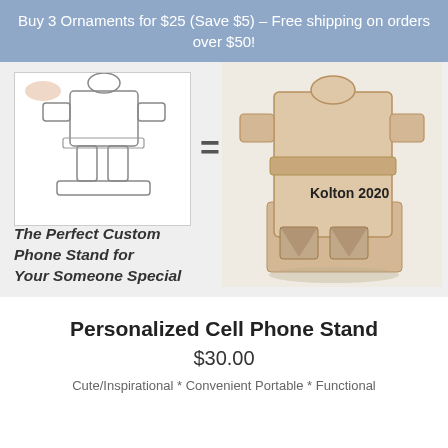Buy 3 Ornaments for $25 (Save $5) – Free shipping on orders over $50!
[Figure (photo): Product marketing image showing a child's pencil sketch of a figure on the left, an equals sign in the middle, and a wooden personalized cell phone stand on the right labeled 'Kolton 2020'. Text overlay reads: The Perfect Custom Phone Stand for Your Someone Special.]
Personalized Cell Phone Stand
$30.00
Cute/Inspirational * Convenient Portable * Functional